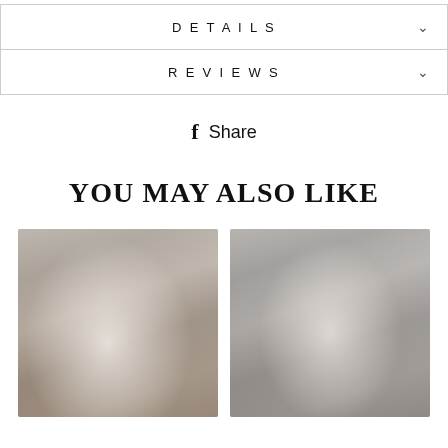DETAILS
REVIEWS
f Share
YOU MAY ALSO LIKE
[Figure (photo): Woman in white spaghetti strap dress taking a selfie in a boutique store]
[Figure (photo): Woman in white top taking a selfie in a boutique store]